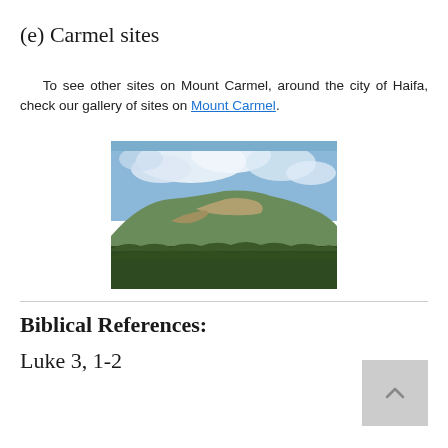(e) Carmel sites
To see other sites on Mount Carmel, around the city of Haifa, check our gallery of sites on Mount Carmel.
[Figure (photo): Photograph of a forested hilltop on Mount Carmel with trees, rocky outcrops, and a blue sky with clouds in the background.]
Biblical References:
Luke 3, 1-2